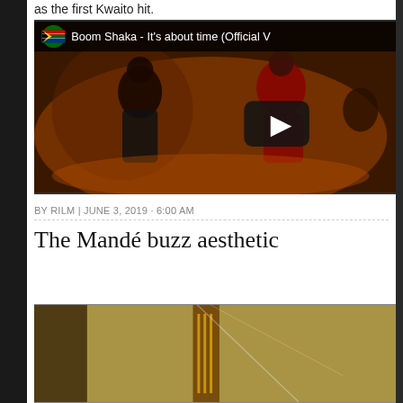as the first Kwaito hit.
[Figure (screenshot): YouTube video thumbnail for 'Boom Shaka - It's about time (Official V...' showing dancers in an orange-lit scene with a South African flag icon and play button overlay.]
BY RILM | JUNE 3, 2019 · 6:00 AM
The Mandé buzz aesthetic
[Figure (photo): Partial photo at bottom of page showing what appears to be a stringed instrument.]